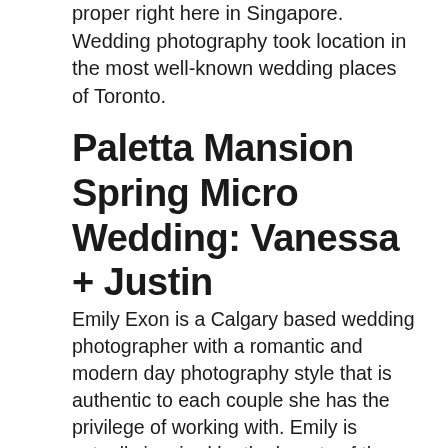proper right here in Singapore. Wedding photography took location in the most well-known wedding places of Toronto.
Paletta Mansion Spring Micro Wedding: Vanessa + Justin
Emily Exon is a Calgary based wedding photographer with a romantic and modern day photography style that is authentic to each couple she has the privilege of working with. Emily is actually inspired by the beauty of the city and it is organic surroundings. She loves to uncover inventive and interesting places – to bring to life the appreciate story of every single of the couples she